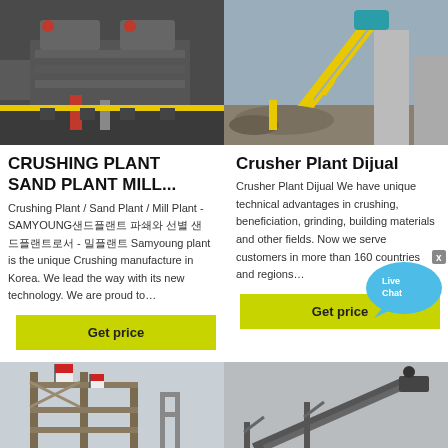[Figure (photo): Industrial crushing plant machinery - two photos side by side. Left: heavy-duty crushing equipment with yellow safety bar. Right: quarry crushing plant with yellow conveyor structure and concrete silos.]
CRUSHING PLANT SAND PLANT MILL...
Crusher Plant Dijual
Crushing Plant / Sand Plant / Mill Plant - SAMYOUNG 삼영플랜트 제품의 특성 파쇄플랜트로서 - 샌드플랜트 Samyoung plant is the unique Crushing manufacture in Korea. We lead the way with its new technology. We are proud to…
Crusher Plant Dijual We have unique technical advantages in crushing, beneficiation, grinding, building materials and other fields. Now we serve customers in more than 160 countries and regions…
Get price
Get price
[Figure (photo): Construction scaffolding with Indonesian red-and-white flags. Right: industrial conveyor equipment against grey sky.]